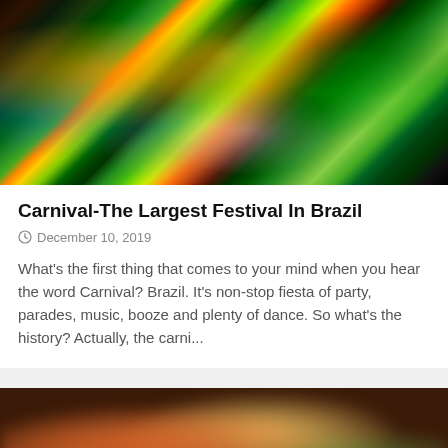[Figure (photo): Carnival parade photo showing performers in colorful costumes with green, orange, and yellow decorations at a Brazilian carnival]
Carnival-The Largest Festival In Brazil
December 10, 2019
What's the first thing that comes to your mind when you hear the word Carnival? Brazil. It's non-stop fiesta of party, parades, music, booze and plenty of dance. So what's the history? Actually, the carni...
[Figure (photo): Blurred bokeh photo of a person with warm orange and green background lights]